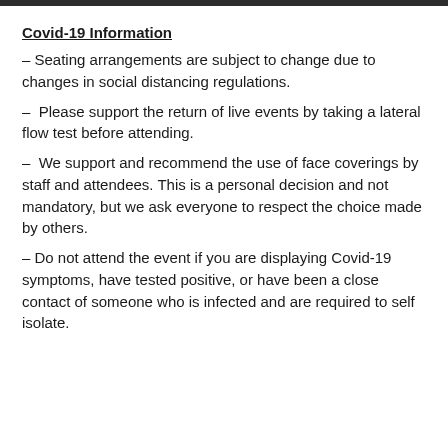Covid-19 Information
– Seating arrangements are subject to change due to changes in social distancing regulations.
– Please support the return of live events by taking a lateral flow test before attending.
– We support and recommend the use of face coverings by staff and attendees. This is a personal decision and not mandatory, but we ask everyone to respect the choice made by others.
– Do not attend the event if you are displaying Covid-19 symptoms, have tested positive, or have been a close contact of someone who is infected and are required to self isolate.